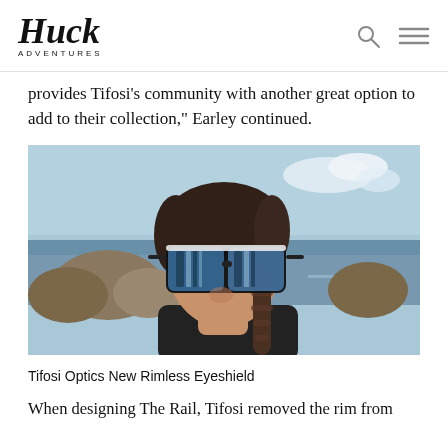Huck Adventures
provides Tifosi's community with another great option to add to their collection," Earley continued.
[Figure (photo): Woman with braided hair wearing large rimless shield sunglasses with blue mirrored lenses, standing near a rocky shoreline with ocean and sky in the background, wearing a black top.]
Tifosi Optics New Rimless Eyeshield
When designing The Rail, Tifosi removed the rim from